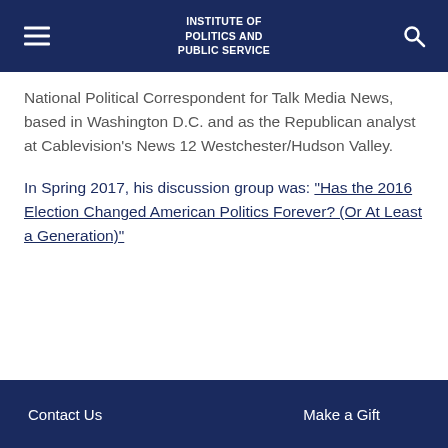INSTITUTE OF POLITICS AND PUBLIC SERVICE
National Political Correspondent for Talk Media News, based in Washington D.C. and as the Republican analyst at Cablevision's News 12 Westchester/Hudson Valley.
In Spring 2017, his discussion group was: "Has the 2016 Election Changed American Politics Forever? (Or At Least a Generation)"
Contact Us   Make a Gift